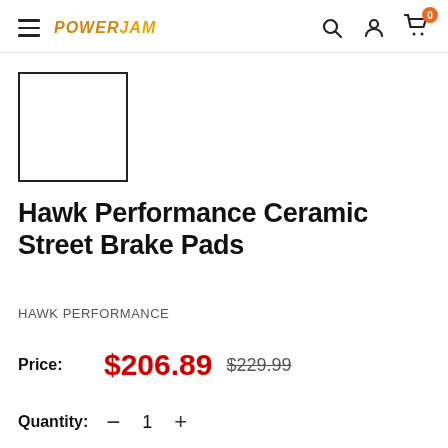PowerJam store header with hamburger menu, logo, search, account, and cart icons
[Figure (illustration): Product thumbnail placeholder — empty white rectangle with black border]
Hawk Performance Ceramic Street Brake Pads
HAWK PERFORMANCE
Price: $206.89  $229.99
Quantity: — 1 +